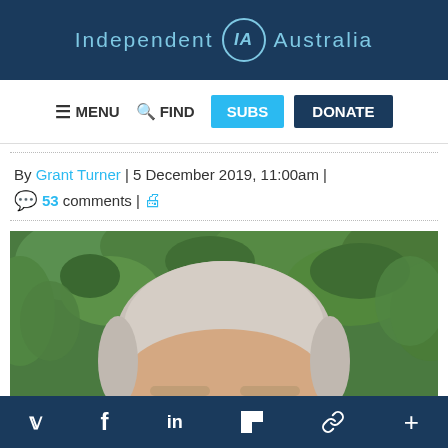Independent IA Australia
MENU  FIND  SUBS  DONATE
By Grant Turner | 5 December 2019, 11:00am | 💬 53 comments | 🖨
[Figure (photo): Close-up photo of a man with short white/grey hair and glasses, with green leafy bushes in the background.]
Social share icons: Twitter, Facebook, LinkedIn, Flipboard, Link, More